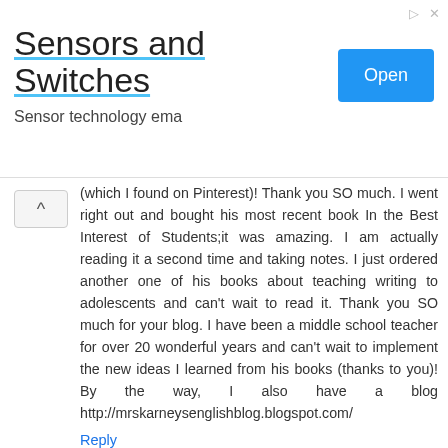[Figure (other): Advertisement banner for 'Sensors and Switches' with an Open button and subtitle 'Sensor technology ema']
(which I found on Pinterest)! Thank you SO much. I went right out and bought his most recent book In the Best Interest of Students;it was amazing. I am actually reading it a second time and taking notes. I just ordered another one of his books about teaching writing to adolescents and can't wait to read it. Thank you SO much for your blog. I have been a middle school teacher for over 20 wonderful years and can't wait to implement the new ideas I learned from his books (thanks to you)! By the way, I also have a blog http://mrskarneysenglishblog.blogspot.com/
Reply
Unknown November 12, 2015 at 8:15 AM
Great post, made me question a lot of things about feedback. I wrote down a few thoughts that were inspired by this post here: